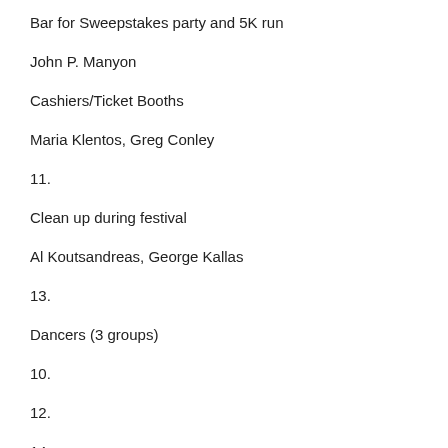Bar for Sweepstakes party and 5K run
John P. Manyon
Cashiers/Ticket Booths
Maria Klentos, Greg Conley
11.
Clean up during festival
Al Koutsandreas, George Kallas
13.
Dancers (3 groups)
10.
12.
14.